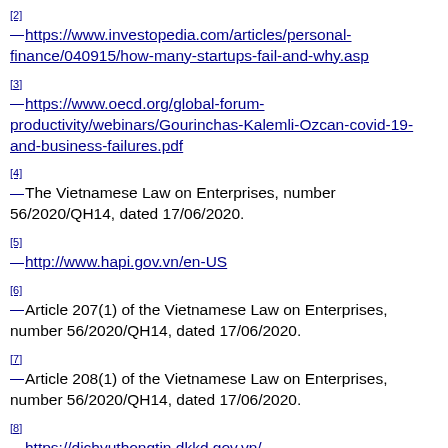[2] https://www.investopedia.com/articles/personal-finance/040915/how-many-startups-fail-and-why.asp
[3] https://www.oecd.org/global-forum-productivity/webinars/Gourinchas-Kalemli-Ozcan-covid-19-and-business-failures.pdf
[4] The Vietnamese Law on Enterprises, number 56/2020/QH14, dated 17/06/2020.
[5] http://www.hapi.gov.vn/en-US
[6] Article 207(1) of the Vietnamese Law on Enterprises, number 56/2020/QH14, dated 17/06/2020.
[7] Article 208(1) of the Vietnamese Law on Enterprises, number 56/2020/QH14, dated 17/06/2020.
[8] https://dichvuthongtin.dkkd.gov.vn/